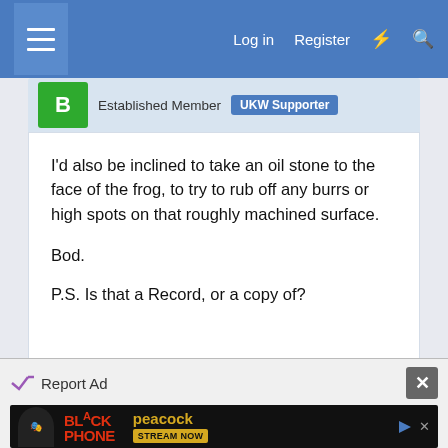Log in  Register
Established Member  UKW Supporter
I'd also be inclined to take an oil stone to the face of the frog, to try to rub off any burrs or high spots on that roughly machined surface.

Bod.

P.S. Is that a Record, or a copy of?
Reply
Advertisement
Report Ad
[Figure (screenshot): Black Phone movie ad with Peacock streaming - dark background with red text and yellow peacock logo]
STREAM NOW